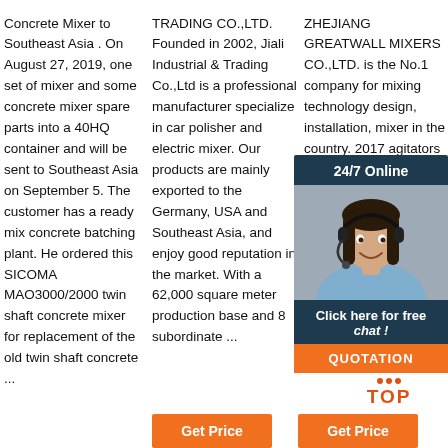Concrete Mixer to Southeast Asia . On August 27, 2019, one set of mixer and some concrete mixer spare parts into a 40HQ container and will be sent to Southeast Asia on September 5. The customer has a ready mix concrete batching plant. He ordered this SICOMA MAO3000/2000 twin shaft concrete mixer for replacement of the old twin shaft concrete ...
TRADING CO.,LTD. Founded in 2002, Jiali Industrial & Trading Co.,Ltd is a professional manufacturer specialize in car polisher and electric mixer. Our products are mainly exported to the Germany, USA and Southeast Asia, and enjoy good reputation in the market. With a 62,000 square meter production base and 8 subordinate ...
ZHEJIANG GREATWALL MIXERS CO.,LTD. is the No.1 company for mixing technology design, installation, mixer in the country. 2017 agitators in the customer cases. ZHEJIANG GREATWALL MIXERS ...
[Figure (photo): Chat widget overlay with a smiling woman wearing a headset, dark blue header reading '24/7 Online', footer text 'Click here for free chat!', and an orange QUOTATION button.]
[Figure (other): TOP button with orange dots above and orange bold TOP text.]
[Figure (other): Orange 'Get Price' button.]